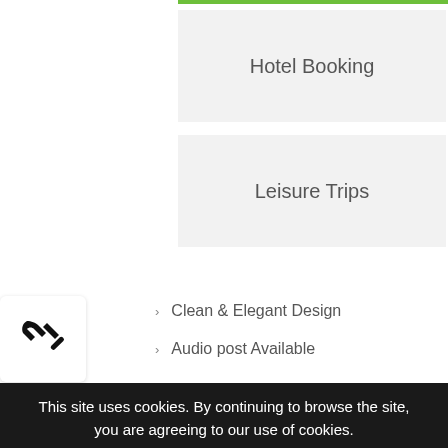Hotel Booking
Leisure Trips
[Figure (illustration): Wrench and screwdriver crossed icon in a white rounded box]
Clean & Elegant Design
Audio post Available
This site uses cookies. By continuing to browse the site, you are agreeing to our use of cookies.
Close
Learn More
Modal